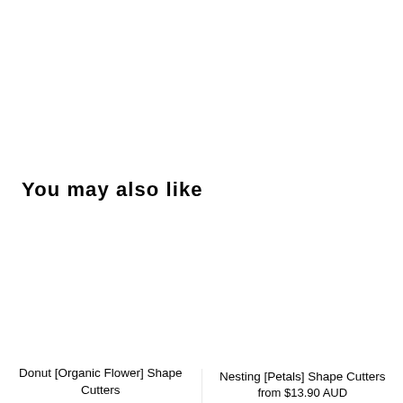You may also like
Donut [Organic Flower] Shape Cutters
Nesting [Petals] Shape Cutters
from $13.90 AUD